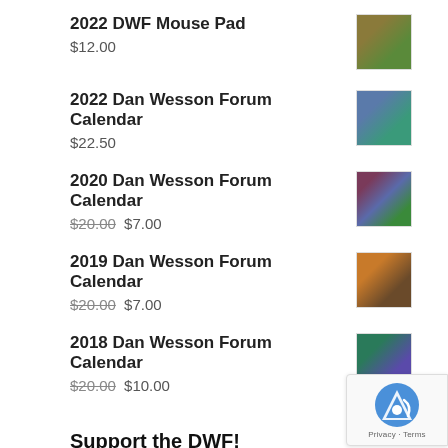2022 DWF Mouse Pad
$12.00
2022 Dan Wesson Forum Calendar
$22.50
2020 Dan Wesson Forum Calendar
$20.00 $7.00
2019 Dan Wesson Forum Calendar
$20.00 $7.00
2018 Dan Wesson Forum Calendar
$20.00 $10.00
Support the DWF!
If you find this site useful, please consider a donation towards site running costs. All contributions are greatly